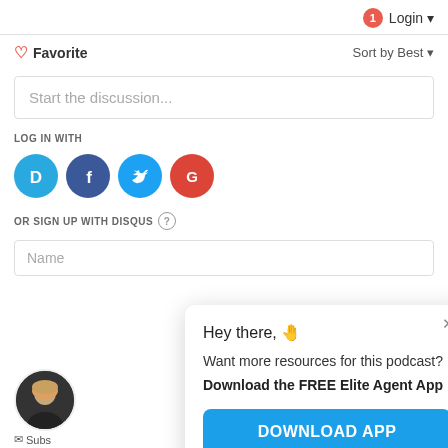1 Login
♡ Favorite    Sort by Best ▾
Start the discussion...
LOG IN WITH
[Figure (illustration): Four social login icons: Disqus (blue D), Facebook (dark blue f), Twitter (blue bird), Google (red G)]
OR SIGN UP WITH DISQUS ⓘ
Name
Hey there, 👋
Want more resources for this podcast?
Download the FREE Elite Agent App
DOWNLOAD APP
[Figure (photo): Round avatar photo of a blonde woman with a microphone, bottom left corner]
✉ Subs...